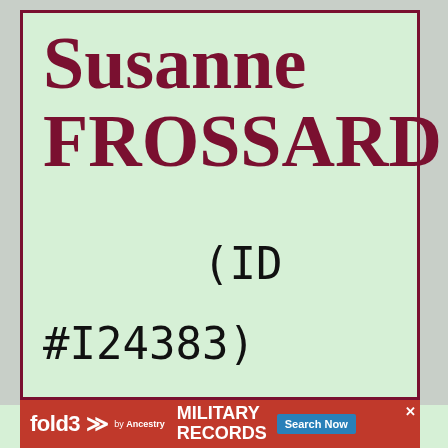Susanne FROSSARD (ID #I24383)
[Figure (screenshot): Advertisement banner for fold3 Military Records by Ancestry with Search Now button]